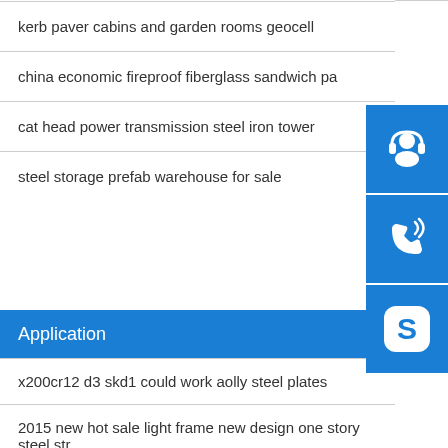kerb paver cabins and garden rooms geocell
china economic fireproof fiberglass sandwich pa
cat head power transmission steel iron tower
steel storage prefab warehouse for sale
Application
x200cr12 d3 skd1 could work aolly steel plates
2015 new hot sale light frame new design one story steel str
classic high quality warehouse steel structure factory